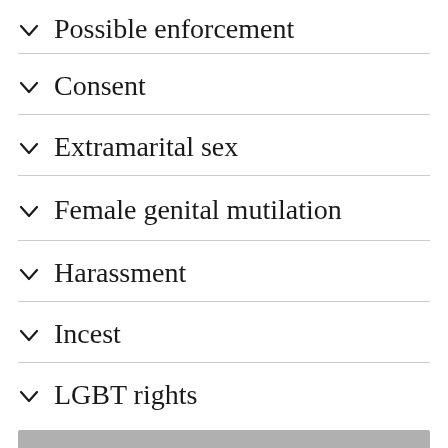Possible enforcement
Consent
Extramarital sex
Female genital mutilation
Harassment
Incest
LGBT rights